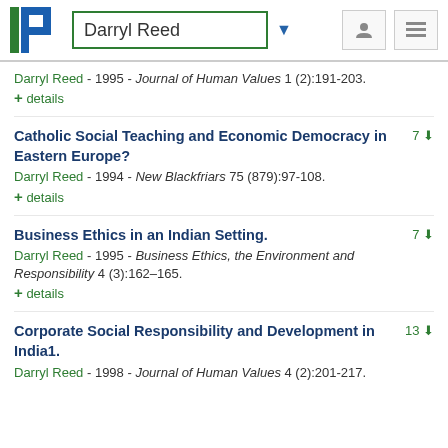Darryl Reed
Darryl Reed - 1995 - Journal of Human Values 1 (2):191-203.
+ details
Catholic Social Teaching and Economic Democracy in Eastern Europe?
Darryl Reed - 1994 - New Blackfriars 75 (879):97-108.
+ details
Business Ethics in an Indian Setting.
Darryl Reed - 1995 - Business Ethics, the Environment and Responsibility 4 (3):162–165.
+ details
Corporate Social Responsibility and Development in India1.
Darryl Reed - 1998 - Journal of Human Values 4 (2):201-217.